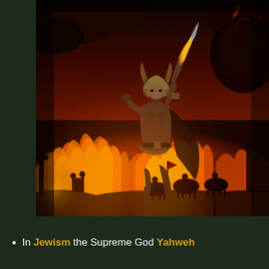[Figure (illustration): Fantasy digital art illustration showing a giant muscular warrior wearing a horned helmet and wielding a sword, striding over a burning battlefield. Warriors on horseback and foot soldiers are silhouetted against massive fires in the background. A large dark creature or god figure is visible in the upper right. The scene is dramatic with reds, oranges, and deep shadows.]
In Jewism the Supreme God Yahweh